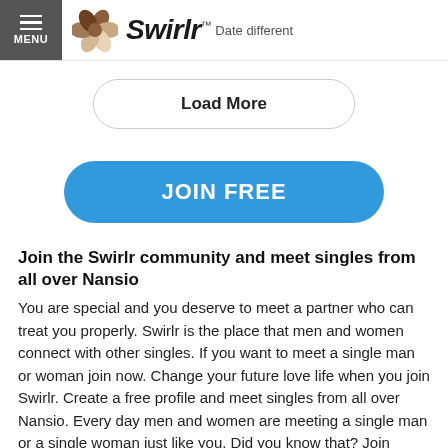MENU | Swirlr™ Date different
Load More
JOIN FREE
Join the Swirlr community and meet singles from all over Nansio
You are special and you deserve to meet a partner who can treat you properly. Swirlr is the place that men and women connect with other singles. If you want to meet a single man or woman join now. Change your future love life when you join Swirlr. Create a free profile and meet singles from all over Nansio. Every day men and women are meeting a single man or a single woman just like you. Did you know that? Join Swirlr and you will find out. Swirlr isn't about finding a man or a woman without any